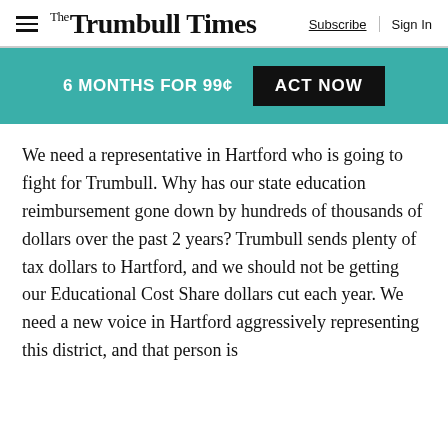The Trumbull Times  Subscribe | Sign In
[Figure (infographic): Teal/green promotional banner: '6 MONTHS FOR 99¢' with black 'ACT NOW' button]
We need a representative in Hartford who is going to fight for Trumbull. Why has our state education reimbursement gone down by hundreds of thousands of dollars over the past 2 years? Trumbull sends plenty of tax dollars to Hartford, and we should not be getting our Educational Cost Share dollars cut each year. We need a new voice in Hartford aggressively representing this district, and that person is